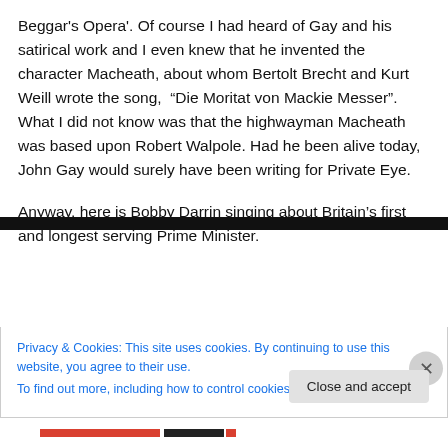Beggar's Opera'. Of course I had heard of Gay and his satirical work and I even knew that he invented the character Macheath, about whom Bertolt Brecht and Kurt Weill wrote the song,  "Die Moritat von Mackie Messer". What I did not know was that the highwayman Macheath was based upon Robert Walpole. Had he been alive today, John Gay would surely have been writing for Private Eye.
Anyway, here is Bobby Darrin singing about Britain's first and longest serving Prime Minister.
[Figure (screenshot): Cookie consent banner with black top bar, text about privacy and cookies, a close and accept button, and a dismiss X button. Bottom of page shows colored bar segments.]